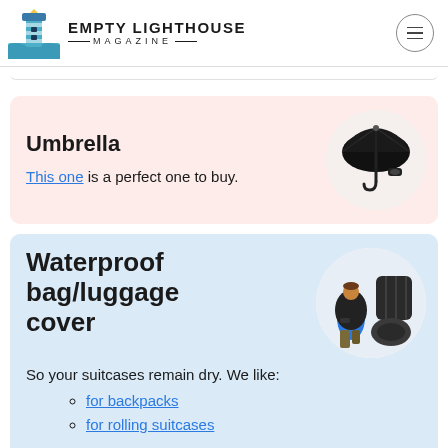EMPTY LIGHTHOUSE MAGAZINE
Umbrella
This one is a perfect one to buy.
[Figure (photo): Folded black umbrella product photo in circular frame]
Waterproof bag/luggage cover
So your suitcases remain dry. We like:
[Figure (photo): Person wearing blue jacket with large black waterproof backpack cover, and separate bag cover product, in circular frame]
for backpacks
for rolling suitcases